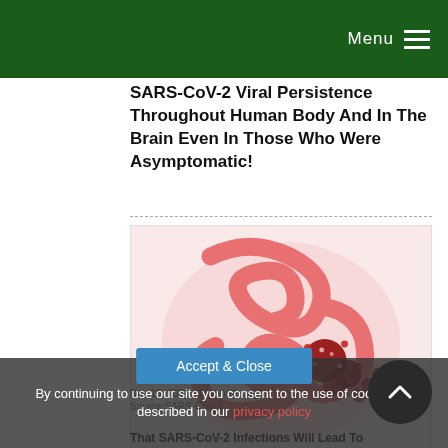Menu
SARS-CoV-2 Viral Persistence Throughout Human Body And In The Brain Even In Those Who Were Asymptomatic!
[Figure (illustration): Medical illustration of intestines/colon with virus particles shown in red, depicting SARS-CoV-2 viral infection in the gut]
Nov 18, 2021  10 months ago
Source:SARS-CoV-2...
That SARS-CoV-2 Infections Will Lead To
By continuing to use our site you consent to the use of cookies as described in our privacy policy
Accept & Close